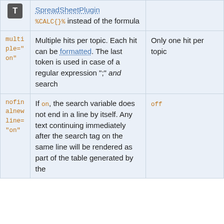| Parameter | Description | Default |
| --- | --- | --- |
| (icon T cell) | SpreadSheetPlugin
%CALC{}% instead of the formula |  |
| multiple="on" | Multiple hits per topic. Each hit can be formatted. The last token is used in case of a regular expression ";" and search | Only one hit per topic |
| nofinalnewline="on" | If on, the search variable does not end in a line by itself. Any text continuing immediately after the search tag on the same line will be rendered as part of the table generated by the | off |